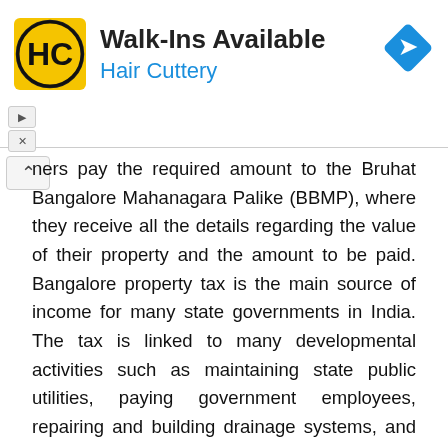[Figure (infographic): Hair Cuttery advertisement banner with logo (HC in circle), title 'Walk-Ins Available', subtitle 'Hair Cuttery', and a blue navigation diamond icon on the right.]
ners pay the required amount to the Bruhat Bangalore Mahanagara Palike (BBMP), where they receive all the details regarding the value of their property and the amount to be paid. Bangalore property tax is the main source of income for many state governments in India. The tax is linked to many developmental activities such as maintaining state public utilities, paying government employees, repairing and building drainage systems, and much more. Bangalore state government is one of the governments to take property tax to the digital level and implement an online payment system.